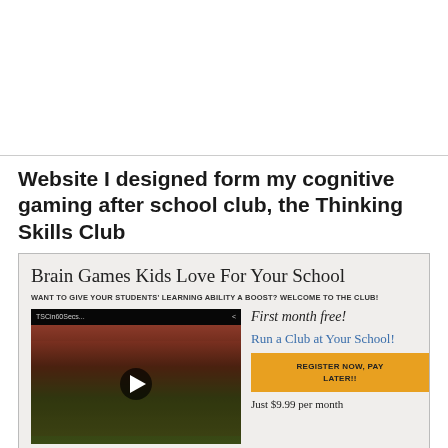Website I designed form my cognitive gaming after school club, the Thinking Skills Club
[Figure (screenshot): Screenshot of a website titled 'Brain Games Kids Love For Your School' with a video thumbnail showing children, and a right panel with 'First month free!', 'Run a Club at Your School!', a 'REGISTER NOW, PAY LATER!' button, and 'Just $9.99 per month']